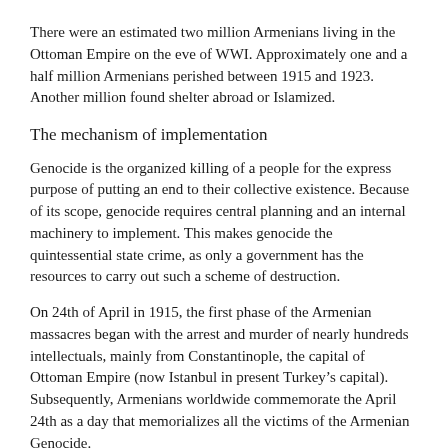There were an estimated two million Armenians living in the Ottoman Empire on the eve of WWI. Approximately one and a half million Armenians perished between 1915 and 1923. Another million found shelter abroad or Islamized.
The mechanism of implementation
Genocide is the organized killing of a people for the express purpose of putting an end to their collective existence. Because of its scope, genocide requires central planning and an internal machinery to implement. This makes genocide the quintessential state crime, as only a government has the resources to carry out such a scheme of destruction.
On 24th of April in 1915, the first phase of the Armenian massacres began with the arrest and murder of nearly hundreds intellectuals, mainly from Constantinople, the capital of Ottoman Empire (now Istanbul in present Turkey’s capital). Subsequently, Armenians worldwide commemorate the April 24th as a day that memorializes all the victims of the Armenian Genocide.
The second phase of the ‘final solution’ appeared with the conscription of some 60.000 Armenian men into the general Turkish army, who were later disarmed and killed by their Turkish fellowmen.